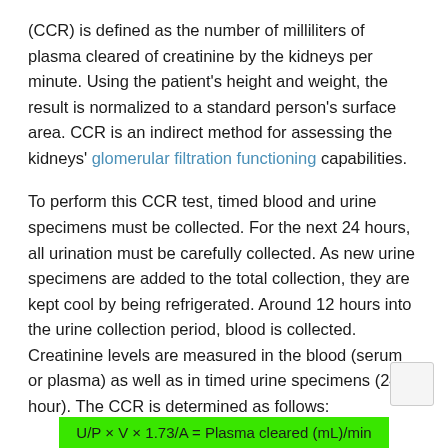(CCR) is defined as the number of milliliters of plasma cleared of creatinine by the kidneys per minute. Using the patient's height and weight, the result is normalized to a standard person's surface area. CCR is an indirect method for assessing the kidneys' glomerular filtration functioning capabilities.
To perform this CCR test, timed blood and urine specimens must be collected. For the next 24 hours, all urination must be carefully collected. As new urine specimens are added to the total collection, they are kept cool by being refrigerated. Around 12 hours into the urine collection period, blood is collected. Creatinine levels are measured in the blood (serum or plasma) as well as in timed urine specimens (24 hour). The CCR is determined as follows: